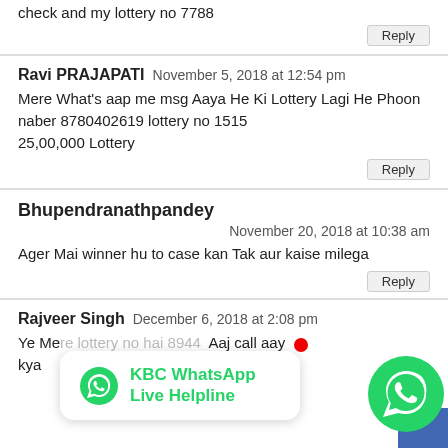check and my lottery no 7788
Reply
Ravi PRAJAPATI  November 5, 2018 at 12:54 pm
Mere What’s aap me msg Aaya He Ki Lottery Lagi He Phoon naber 8780402619 lottery no 1515
25,00,000 Lottery
Reply
Bhupendranathpandey
November 20, 2018 at 10:38 am
Ager Mai winner hu to case kan Tak aur kaise milega
Reply
Rajveer Singh  December 6, 2018 at 2:08 pm
Ye Mere lottery no hai 8944  Aaj call aay kya ...
[Figure (infographic): KBC WhatsApp Live Helpline popup with WhatsApp icon in green, and a large green WhatsApp FAB button at bottom right]